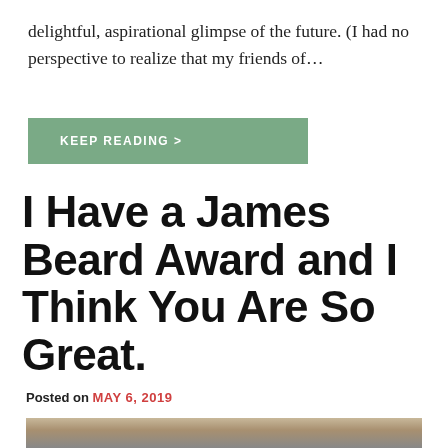delightful, aspirational glimpse of the future. (I had no perspective to realize that my friends of…
KEEP READING >
I Have a James Beard Award and I Think You Are So Great.
Posted on MAY 6, 2019
[Figure (photo): Photo of a person sitting on outdoor steps]